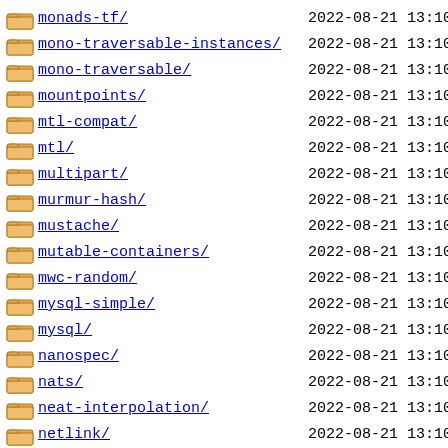monads-tf/  2022-08-21 13:10
mono-traversable-instances/  2022-08-21 13:10
mono-traversable/  2022-08-21 13:10
mountpoints/  2022-08-21 13:10
mtl-compat/  2022-08-21 13:10
mtl/  2022-08-21 13:10
multipart/  2022-08-21 13:10
murmur-hash/  2022-08-21 13:10
mustache/  2022-08-21 13:10
mutable-containers/  2022-08-21 13:10
mwc-random/  2022-08-21 13:10
mysql-simple/  2022-08-21 13:10
mysql/  2022-08-21 13:10
nanospec/  2022-08-21 13:10
nats/  2022-08-21 13:10
neat-interpolation/  2022-08-21 13:10
netlink/  2022-08-21 13:10